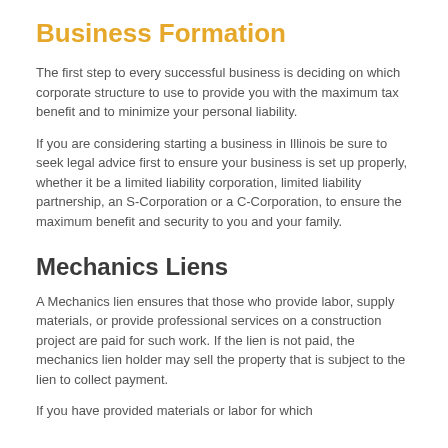Business Formation
The first step to every successful business is deciding on which corporate structure to use to provide you with the maximum tax benefit and to minimize your personal liability.
If you are considering starting a business in Illinois be sure to seek legal advice first to ensure your business is set up properly, whether it be a limited liability corporation, limited liability partnership, an S-Corporation or a C-Corporation, to ensure the maximum benefit and security to you and your family.
Mechanics Liens
A Mechanics lien ensures that those who provide labor, supply materials, or provide professional services on a construction project are paid for such work. If the lien is not paid, the mechanics lien holder may sell the property that is subject to the lien to collect payment.
If you have provided materials or labor for which